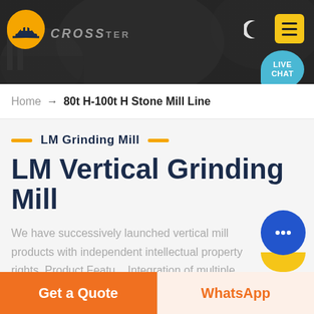[Figure (screenshot): Website header banner with dark industrial background, company logo (orange hard-hat icon) on the left, company name text, moon/dark-mode icon and yellow hamburger menu button on the right, and a teal LIVE CHAT speech bubble in the lower right.]
Home → 80t H-100t H Stone Mill Line
LM Grinding Mill
LM Vertical Grinding Mill
We have successively launched vertical mill products with independent intellectual property rights. Product Featu... Integration of multiple functions, more stable and reliab...
Get a Quote
WhatsApp